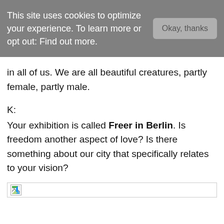This site uses cookies to optimize your experience. To learn more or opt out: Find out more.
in all of us. We are all beautiful creatures, partly female, partly male.
K:
Your exhibition is called Freer in Berlin. Is freedom another aspect of love? Is there something about our city that specifically relates to your vision?
[Figure (other): Broken image placeholder at the bottom of the page]